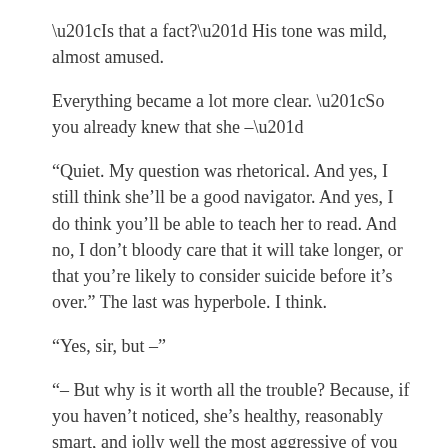“Is that a fact?” His tone was mild, almost amused.
Everything became a lot more clear. “So you already knew that she –”
“Quiet. My question was rhetorical. And yes, I still think she’ll be a good navigator. And yes, I do think you’ll be able to teach her to read. And no, I don’t bloody care that it will take longer, or that you’re likely to consider suicide before it’s over.” The last was hyperbole. I think.
“Yes, sir, but –”
“– But why is it worth all the trouble? Because, if you haven’t noticed, she’s healthy, reasonably smart, and jolly well the most aggressive of you all. Traits which mark her as a survivor.”